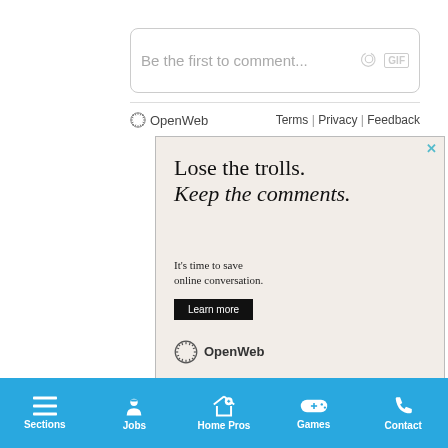Be the first to comment...
OpenWeb   Terms | Privacy | Feedback
[Figure (screenshot): OpenWeb advertisement: 'Lose the trolls. Keep the comments. It's time to save online conversation. Learn more.' with OpenWeb logo and close button.]
AdChoices   Sponsored
Sections  Jobs  Home Pros  Games  Contact